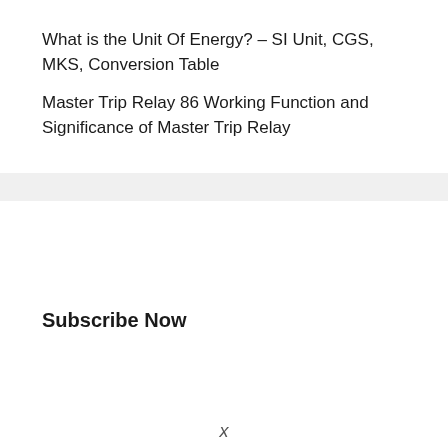What is the Unit Of Energy? – SI Unit, CGS, MKS, Conversion Table
Master Trip Relay 86 Working Function and Significance of Master Trip Relay
Subscribe Now